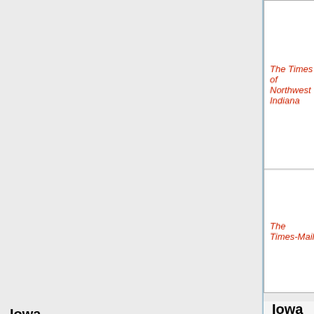| Title | dailies/Sundays | Period |  |
| --- | --- | --- | --- |
| The Times of Northwest Indiana | dailies | ? - present | M... |
| The Times-Mail |  | dailies | M... 1... 1... |
Iowa
| Title | dailies/Sundays | Period |  |
| --- | --- | --- | --- |
| Burlington Hawk-Eye Gazette | dailies | 1945 - ? | B... |
| The Cedar | dailies/ | September 21, 1942 to December 27, 1971 | C... |